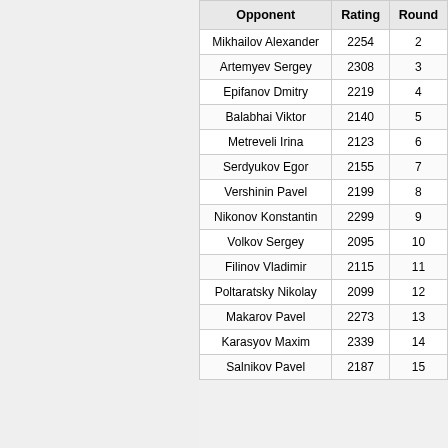| Opponent | Rating | Round |
| --- | --- | --- |
| Mikhailov Alexander | 2254 | 2 |
| Artemyev Sergey | 2308 | 3 |
| Epifanov Dmitry | 2219 | 4 |
| Balabhai Viktor | 2140 | 5 |
| Metreveli Irina | 2123 | 6 |
| Serdyukov Egor | 2155 | 7 |
| Vershinin Pavel | 2199 | 8 |
| Nikonov Konstantin | 2299 | 9 |
| Volkov Sergey | 2095 | 10 |
| Filinov Vladimir | 2115 | 11 |
| Poltaratsky Nikolay | 2099 | 12 |
| Makarov Pavel | 2273 | 13 |
| Karasyov Maxim | 2339 | 14 |
| Salnikov Pavel | 2187 | 15 |